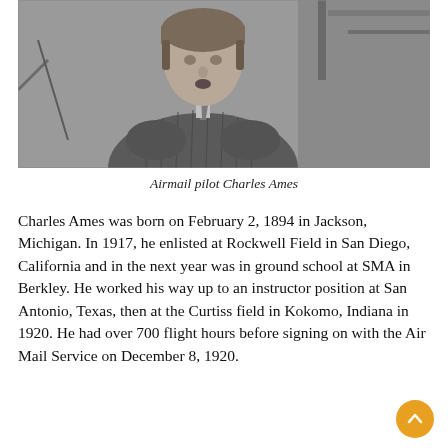[Figure (photo): Black and white photograph of airmail pilot Charles Ames, wearing a ribbed sweater, standing in front of an aircraft, looking upward with mouth slightly open.]
Airmail pilot Charles Ames
Charles Ames was born on February 2, 1894 in Jackson, Michigan. In 1917, he enlisted at Rockwell Field in San Diego, California and in the next year was in ground school at SMA in Berkley. He worked his way up to an instructor position at San Antonio, Texas, then at the Curtiss field in Kokomo, Indiana in 1920. He had over 700 flight hours before signing on with the Air Mail Service on December 8, 1920.